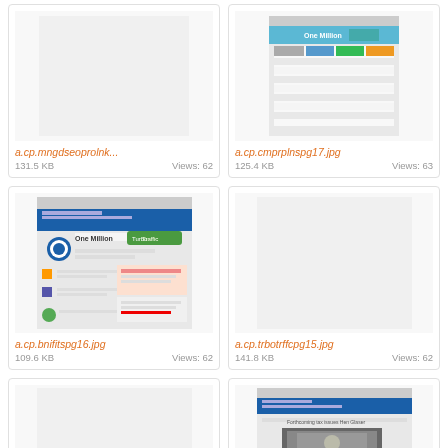[Figure (screenshot): Thumbnail of a.cp.mngdseoprolnk image - mostly blank/white]
a.cp.mngdseoprolnk...
131.5 KB    Views: 62
[Figure (screenshot): Thumbnail of a.cp.cmprplnspg17.jpg - shows One Million webpage with pricing table]
a.cp.cmprplnspg17.jpg
125.4 KB    Views: 63
[Figure (screenshot): Thumbnail of a.cp.bnifitspg16.jpg - shows One Million webpage with blue header and content]
a.cp.bnifitspg16.jpg
109.6 KB    Views: 62
[Figure (screenshot): Thumbnail of a.cp.trbotrffcpg15.jpg - blank/white thumbnail]
a.cp.trbotrffcpg15.jpg
141.8 KB    Views: 62
[Figure (screenshot): Thumbnail - blank/white]
[Figure (screenshot): Thumbnail showing a webpage with a person video/image and text]